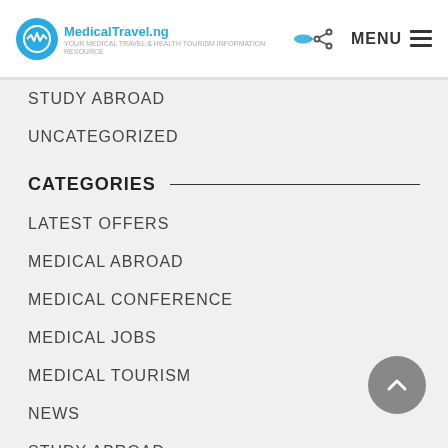MedicalTravel.ng | MENU
STUDY ABROAD
UNCATEGORIZED
CATEGORIES
LATEST OFFERS
MEDICAL ABROAD
MEDICAL CONFERENCE
MEDICAL JOBS
MEDICAL TOURISM
NEWS
STUDY ABROAD
UNCATEGORIZED
ARCHIVES